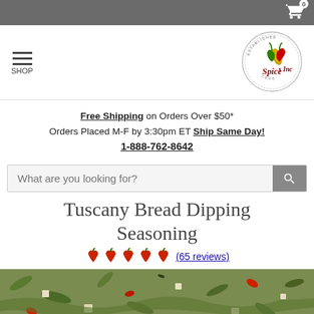Cart: 0 items
[Figure (logo): Spices Inc logo — circular badge with chili pepper character, text 'ESTABLISHED 2000' around border]
Free Shipping on Orders Over $50* Orders Placed M-F by 3:30pm ET Ship Same Day! 1-888-762-8642
What are you looking for?
Tuscany Bread Dipping Seasoning
(65 reviews)
[Figure (photo): Close-up photo of Tuscany Bread Dipping Seasoning spice blend showing herbs, salt crystals, vegetables]